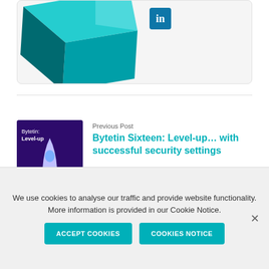[Figure (illustration): Partial view of teal/cyan 3D box shape with LinkedIn icon badge]
Previous Post
[Figure (illustration): Thumbnail image: dark purple background with rocket ship, text 'Bytetin: Level-up']
Bytetin Sixteen: Level-up… with successful security settings
Next Post
[Figure (illustration): Thumbnail image: dark purple background with rocket ship, text 'Bytetin: Level-up']
Bytetin Eighteen: Level-up…by encrypting your device
We use cookies to analyse our traffic and provide website functionality. More information is provided in our Cookie Notice.